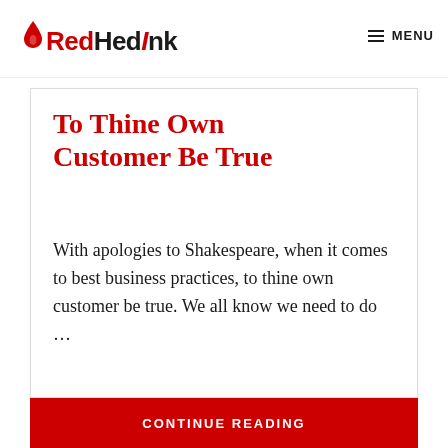RedHedInk — MENU
To Thine Own Customer Be True
With apologies to Shakespeare, when it comes to best business practices, to thine own customer be true. We all know we need to do …
CONTINUE READING